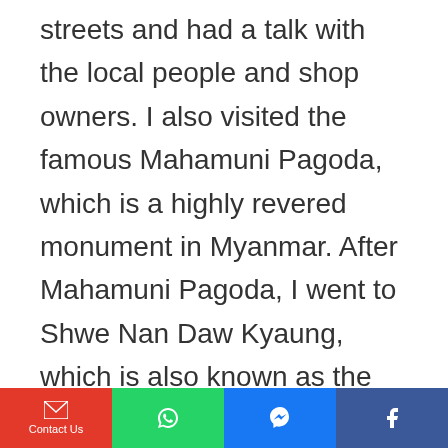streets and had a talk with the local people and shop owners. I also visited the famous Mahamuni Pagoda, which is a highly revered monument in Myanmar. After Mahamuni Pagoda, I went to Shwe Nan Daw Kyaung, which is also known as the Golden Palace Monastery, which presents a beautiful example of Burmese architecture. It was also amazing to check out Kuthodaw Pagoda, the largest ever book made completely of marble. These are the few things I never heard of before, and when
Contact Us | WhatsApp | Messenger | Facebook